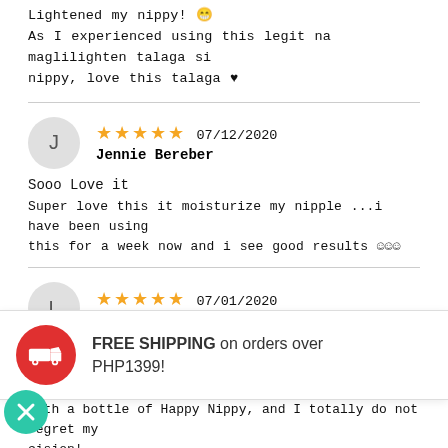Lightened my nippy! 😁
As I experienced using this legit na maglilighten talaga si nippy, love this talaga ♥
Jennie Bereber — ★★★★★ 07/12/2020
Sooo Love it
Super love this it moisturize my nipple ...i have been using this for a week now and i see good results ☺☺☺
Lei — ★★★★★ 07/01/2020
Go treat yourself and buy one now!
FREE SHIPPING on orders over PHP1399!
with a bottle of Happy Nippy, and I totally do not regret my decision!
I used it only once a day every evening, but I still noticed the results fast! I still have more than half of a bottle left yet